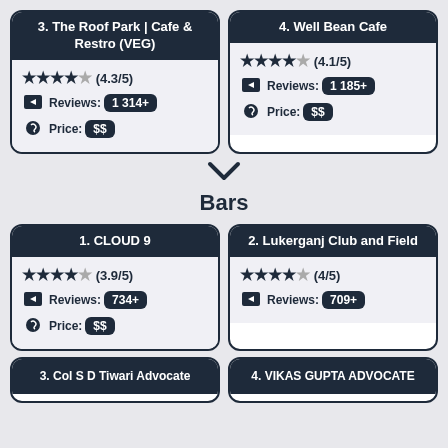[Figure (infographic): Card for place #3: The Roof Park | Cafe & Restro (VEG), rating 4.3/5 with stars, Reviews: 1 314+, Price: $$]
[Figure (infographic): Card for place #4: Well Bean Cafe, rating 4.1/5 with stars, Reviews: 1 185+, Price: $$]
▾
Bars
[Figure (infographic): Card for bar #1: CLOUD 9, rating 3.9/5 with stars, Reviews: 734+, Price: $$]
[Figure (infographic): Card for bar #2: Lukerganj Club and Field, rating 4/5 with stars, Reviews: 709+]
[Figure (infographic): Card for #3: Col S D Tiwari Advocate (partially visible)]
[Figure (infographic): Card for #4: VIKAS GUPTA ADVOCATE (partially visible)]